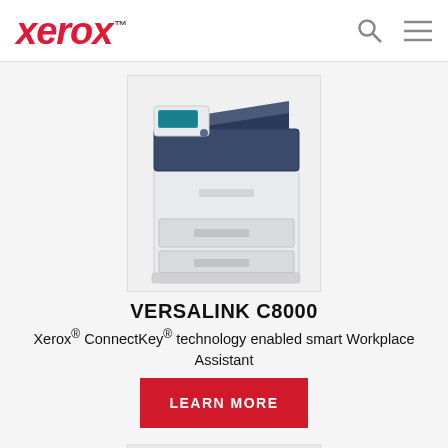Xerox™
[Figure (photo): Xerox VersaLink C8000 color printer with paper trays and control panel, shown on light gray background]
VERSALINK C8000
Xerox® ConnectKey® technology enabled smart Workplace Assistant
LEARN MORE
[Figure (photo): Partial view of another Xerox product, cropped at bottom of page]